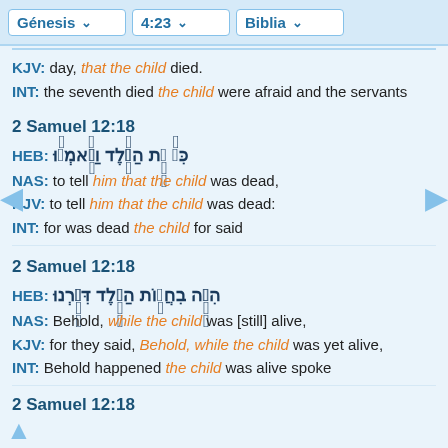Génesis  4:23  Biblia
KJV: day, that the child died.
INT: the seventh died the child were afraid and the servants
2 Samuel 12:18
HEB: כִּי֙ מֵ֣ת הַיֶּ֔לֶד וַיֹּ֣אמְר֔וּ
NAS: to tell him that the child was dead,
KJV: to tell him that the child was dead:
INT: for was dead the child for said
2 Samuel 12:18
HEB: הִנֵּ֥ה בִחֲי֛וֹת הַיֶּ֖לֶד דִּבַּ֣רְנוּ
NAS: Behold, while the child was [still] alive,
KJV: for they said, Behold, while the child was yet alive,
INT: Behold happened the child was alive spoke
2 Samuel 12:18